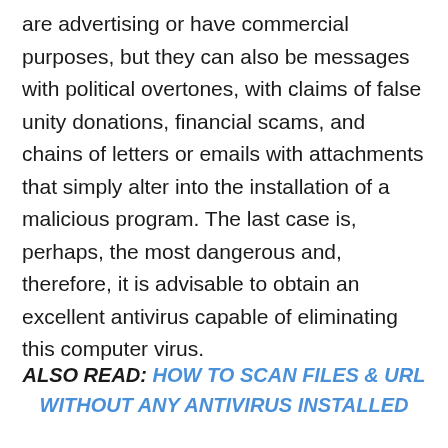are advertising or have commercial purposes, but they can also be messages with political overtones, with claims of false unity donations, financial scams, and chains of letters or emails with attachments that simply alter into the installation of a malicious program. The last case is, perhaps, the most dangerous and, therefore, it is advisable to obtain an excellent antivirus capable of eliminating this computer virus.
ALSO READ: HOW TO SCAN FILES & URL WITHOUT ANY ANTIVIRUS INSTALLED